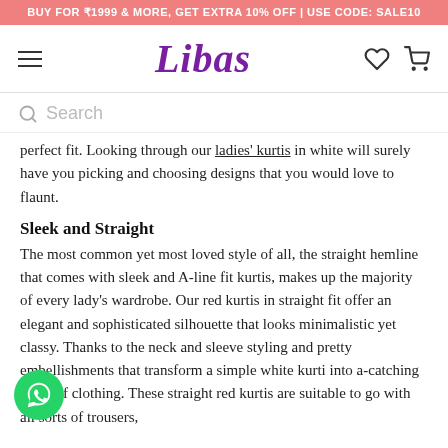BUY FOR ₹1999 & MORE, GET EXTRA 10% OFF | USE CODE: SALE10
[Figure (logo): Libas fashion brand logo with hamburger menu, heart and cart icons]
Search
perfect fit. Looking through our ladies' kurtis in white will surely have you picking and choosing designs that you would love to flaunt.
Sleek and Straight
The most common yet most loved style of all, the straight hemline that comes with sleek and A-line fit kurtis, makes up the majority of every lady's wardrobe. Our red kurtis in straight fit offer an elegant and sophisticated silhouette that looks minimalistic yet classy. Thanks to the neck and sleeve styling and pretty embellishments that transform a simple white kurti into a-catching piece of clothing. These straight red kurtis are suitable to go with all sorts of trousers,